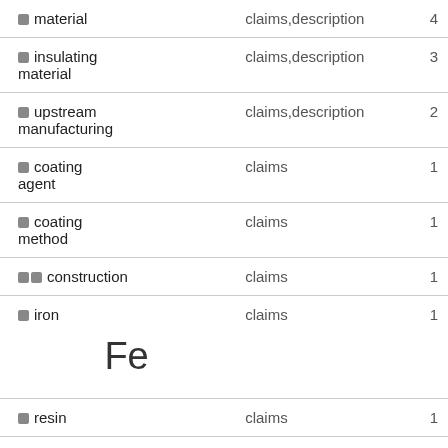| Term | Source | Count |
| --- | --- | --- |
| material | claims,description | 4 |
| insulating material | claims,description | 3 |
| upstream manufacturing | claims,description | 2 |
| coating agent | claims | 1 |
| coating method | claims | 1 |
| construction | claims | 1 |
| iron (Fe) | claims | 1 |
| resin | claims | 1 |